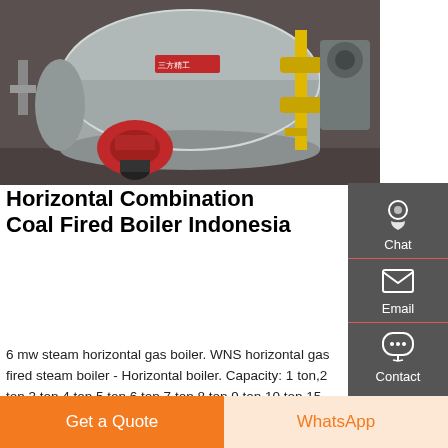[Figure (photo): Industrial horizontal gas-fired steam boiler in a factory setting, showing a large cylindrical silver/grey boiler body with a red burner unit attached, yellow gas supply pipes visible on the right side.]
Horizontal Combination Coal Fired Boiler Indonesia
6 mw steam horizontal gas boiler. WNS horizontal gas fired steam boiler - Horizontal boiler. Capacity: 1 ton,2 ton,3 ton,4 ton,5 ton,6 ton,7 ton,8 ton,9 ton,10 ton,15 ton,20 ton,25 ton,30 ton,35 ton WNS horizontal gas fired steam boiler Packaging & Delivery. industrial boilers - Hoval. 38. Engineering
Get a Quote
WhatsApp